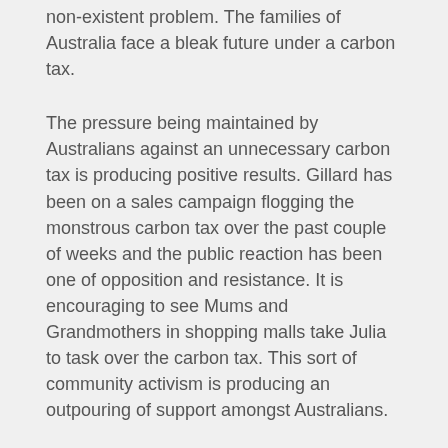non-existent problem. The families of Australia face a bleak future under a carbon tax.
The pressure being maintained by Australians against an unnecessary carbon tax is producing positive results. Gillard has been on a sales campaign flogging the monstrous carbon tax over the past couple of weeks and the public reaction has been one of opposition and resistance. It is encouraging to see Mums and Grandmothers in shopping malls take Julia to task over the carbon tax. This sort of community activism is producing an outpouring of support amongst Australians.
Far-left Socialist political parties always ignore the free will of men and women. The leftist agenda is one of control, high taxation, wealth redistribution and the crushing of free men and women into submission. The planned leftist decay will only become a reality if we allow apathy and defeatist attitude to rule our thoughts. Instead, Patriots should continue to take to the streets and reclaim our sovereignty. The fighting spirit of the Australian people is still there and may it burn bright like a mighty fire through the night. Join us in protest against the evil establishment